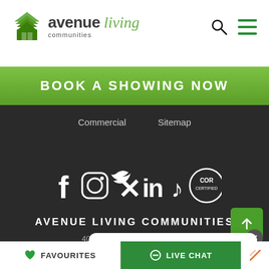[Figure (logo): Avenue Living Communities logo with green tree/building icon and stylized wordmark]
BOOK A SHOWING NOW
Commercial
Sitemap
[Figure (infographic): Social media icons row: Facebook, Instagram, Twitter, LinkedIn, TikTok, COR certification badge]
AVENUE LIVING COMMUNITIES
400-One Richard Road SW...
Help us improve by sharing your feedback.
FAVOURITES
LIVE CHAT